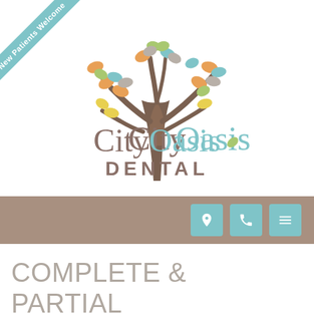[Figure (logo): City Oasis Dental logo with colorful tree illustration and text 'CityOasis DENTAL']
New Patients Welcome
[Figure (infographic): Navigation bar with location pin, phone, and menu icons on teal square buttons over brown/tan background]
COMPLETE & PARTIAL DENTURES IN